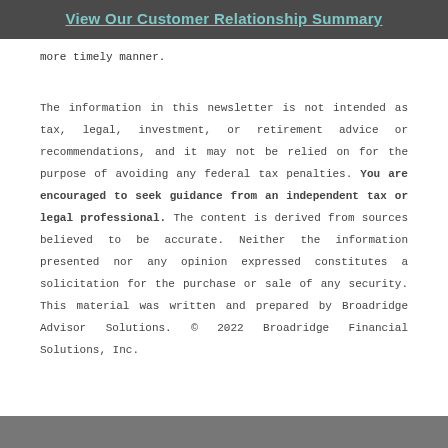View Our Customer Relationship Summary
more timely manner.
The information in this newsletter is not intended as tax, legal, investment, or retirement advice or recommendations, and it may not be relied on for the purpose of avoiding any federal tax penalties. You are encouraged to seek guidance from an independent tax or legal professional. The content is derived from sources believed to be accurate. Neither the information presented nor any opinion expressed constitutes a solicitation for the purchase or sale of any security. This material was written and prepared by Broadridge Advisor Solutions. © 2022 Broadridge Financial Solutions, Inc.